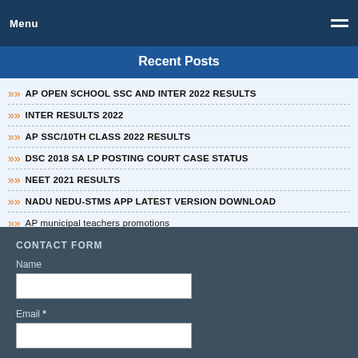Menu
Recent Posts
AP OPEN SCHOOL SSC AND INTER 2022 RESULTS
INTER RESULTS 2022
AP SSC/10TH CLASS 2022 RESULTS
DSC 2018 SA LP POSTING COURT CASE STATUS
NEET 2021 RESULTS
NADU NEDU-STMS APP LATEST VERSION DOWNLOAD
AP municipal teachers promotions
More Posts
CONTACT FORM
Name
Email *